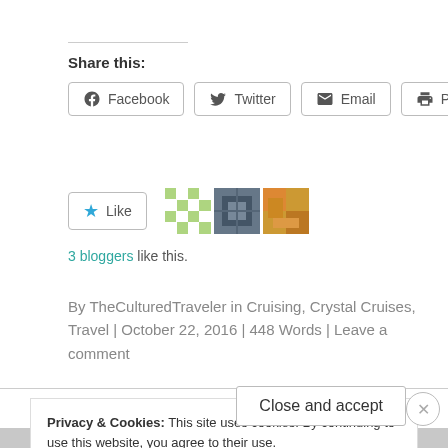Share this:
Facebook  Twitter  Email  Print
Like  [3 blogger avatars]
3 bloggers like this.
By TheCulturedTraveler in Cruising, Crystal Cruises, Travel | October 22, 2016 | 448 Words | Leave a comment
Privacy & Cookies: This site uses cookies. By continuing to use this website, you agree to their use.
To find out more, including how to control cookies, see here: Cookie Policy
Close and accept